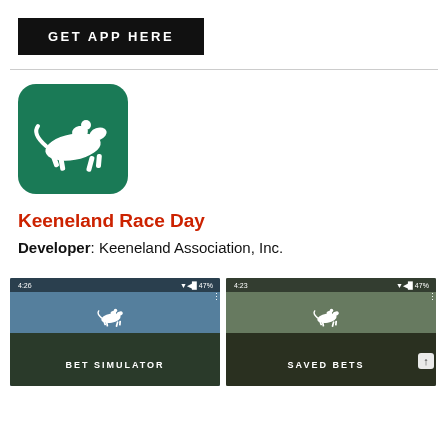[Figure (other): Black button with white bold uppercase text: GET APP HERE]
[Figure (logo): Green rounded square app icon with white horse and jockey silhouette (Keeneland Race Day app icon)]
Keeneland Race Day
Developer: Keeneland Association, Inc.
[Figure (screenshot): Mobile app screenshot showing BET SIMULATOR screen with Keeneland logo, status bar showing 4:26 and 47% battery]
[Figure (screenshot): Mobile app screenshot showing SAVED BETS screen with Keeneland logo, status bar showing 4:23 and 47% battery]